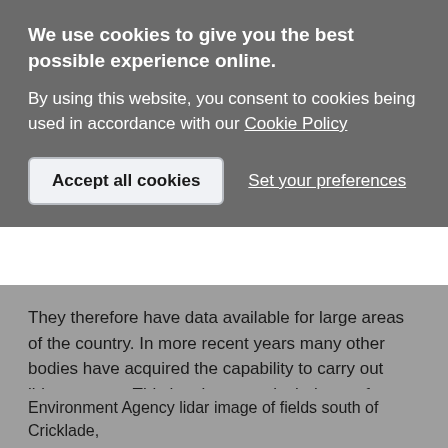We use cookies to give you the best possible experience online.
By using this website, you consent to cookies being used in accordance with our Cookie Policy
Accept all cookies
Set your preferences
They therefore have data available for large areas of the country. In more recent years many other bodies have acquired the capability to carry out lidar surveys. This has been particularly true for utilities companies, highway agencies and other developers.
Environment Agency lidar image of fields south of Cricklade,